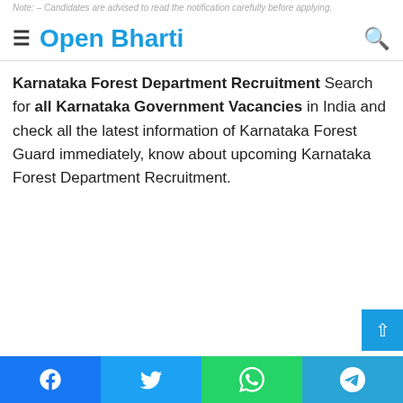Open Bharti
Karnataka Forest Department Recruitment Search for all Karnataka Government Vacancies in India and check all the latest information of Karnataka Forest Guard immediately, know about upcoming Karnataka Forest Department Recruitment.